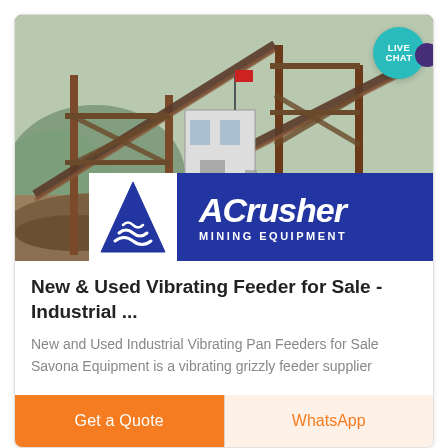[Figure (photo): Industrial mining equipment / conveyor belt structure at an outdoor mining site, with mountains in background. ACrusher Mining Equipment logo overlay at bottom of image.]
New & Used Vibrating Feeder for Sale - Industrial ...
New and Used Industrial Vibrating Pan Feeders for Sale Savona Equipment is a vibrating grizzly feeder supplier